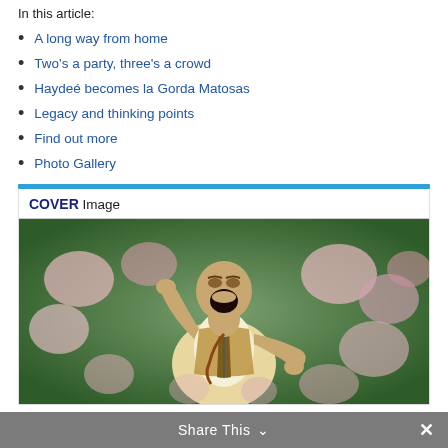In this article:
A long way from home
Two's a party, three's a crowd
Haydeé becomes la Gorda Matosas
Legacy and thinking points
Find out more
Photo Gallery
COVER Image
[Figure (photo): A person with mouth open wide, singing or shouting expressively, surrounded by a colorful crowd in the background. The image appears vintage/retro with warm tones.]
Share This